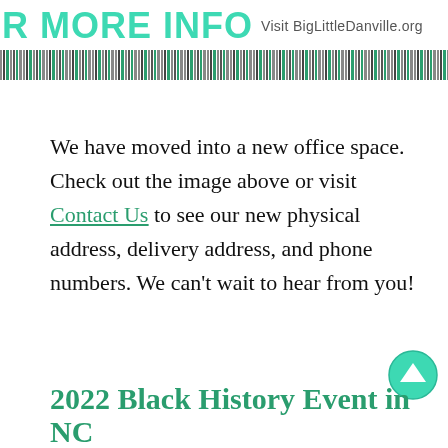R MORE INFO Visit BigLittleDanville.org
[Figure (other): Decorative repeating pattern bar with geometric symbols in grey and green]
We have moved into a new office space. Check out the image above or visit Contact Us to see our new physical address, delivery address, and phone numbers. We can't wait to hear from you!
Read More
[Figure (other): Green circle scroll-up arrow button]
2022 Black History Event in NC